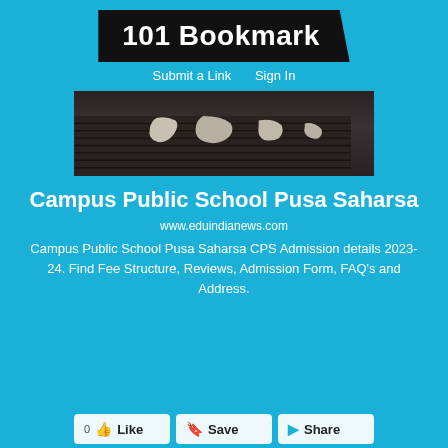101 Bookmark
Submit a Link   Sign In
[Figure (photo): Thumbnail image showing a dark world map/globe graphic on brown-black background]
Campus Public School Pusa Saharsa
www.eduindianews.com
Campus Public School Pusa Saharsa CPS Admission details 2023-24. Find Fee Structure, Reviews, Admission Form, FAQ's and Address.
Like   Save   Share